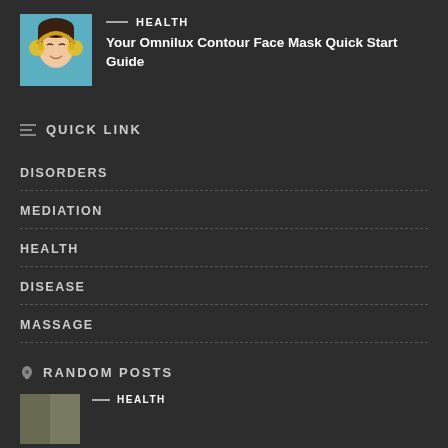[Figure (photo): Thumbnail photo of a young woman with yellow headphone-like device on her ears, eyes closed, light blue-teal background]
HEALTH
Your Omnilux Contour Face Mask Quick Start Guide
QUICK LINK
DISORDERS
MEDIATION
HEALTH
DISEASE
MASSAGE
RANDOM POSTS
HEALTH